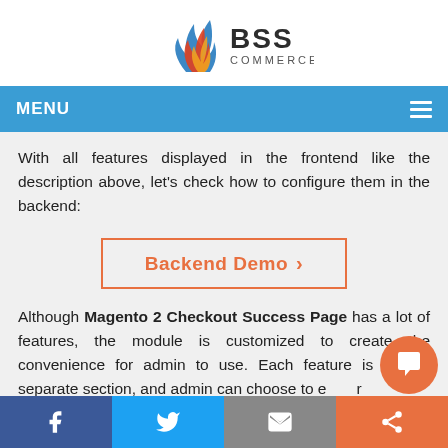[Figure (logo): BSS Commerce logo with flame icon and text 'BSS COMMERCE']
MENU
With all features displayed in the frontend like the description above, let's check how to configure them in the backend:
[Figure (other): Backend Demo button with orange border and chevron]
Although Magento 2 Checkout Success Page has a lot of features, the module is customized to create the convenience for admin to use. Each feature is s a separate section, and admin can choose to e r
Facebook | Twitter | Email | Share | Chat